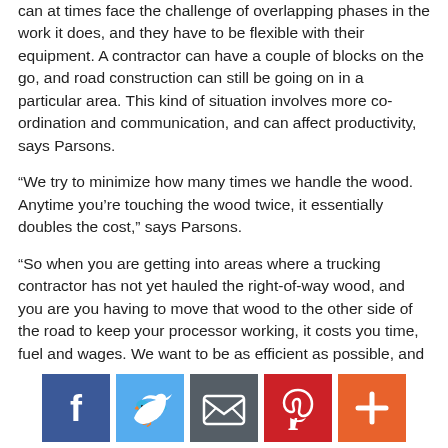can at times face the challenge of overlapping phases in the work it does, and they have to be flexible with their equipment. A contractor can have a couple of blocks on the go, and road construction can still be going on in a particular area. This kind of situation involves more co-ordination and communication, and can affect productivity, says Parsons.
“We try to minimize how many times we handle the wood. Anytime you’re touching the wood twice, it essentially doubles the cost,” says Parsons.
“So when you are getting into areas where a trucking contractor has not yet hauled the right-of-way wood, and you are you having to move that wood to the other side of the road to keep your processor working, it costs you time, fuel and wages. We want to be as efficient as possible, and stay away from that.” Winter conditions can also definitely play a huge role in adding costs when they are not able to haul, yet they still try to be productive and keep the crews employed, he added.
With the growth in the amount of higher elevation work on the B.C. Coast, Tilt Contracting has been looking at tethered systems, for steep slope work.
[Figure (infographic): Social media sharing buttons: Facebook (blue), Twitter (light blue), Email (grey), Pinterest (red), More/Plus (orange-red)]